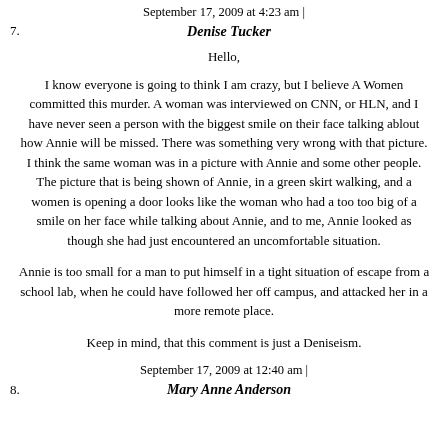September 17, 2009 at 4:23 am |
7. Denise Tucker
Hello,
I know everyone is going to think I am crazy, but I believe A Women committed this murder. A woman was interviewed on CNN, or HLN, and I have never seen a person with the biggest smile on their face talking ablout how Annie will be missed. There was something very wrong with that picture. I think the same woman was in a picture with Annie and some other people. The picture that is being shown of Annie, in a green skirt walking, and a women is opening a door looks like the woman who had a too too big of a smile on her face while talking about Annie, and to me, Annie looked as though she had just encountered an uncomfortable situation.
Annie is too small for a man to put himself in a tight situation of escape from a school lab, when he could have followed her off campus, and attacked her in a more remote place.
Keep in mind, that this comment is just a Deniseism.
September 17, 2009 at 12:40 am |
8. Mary Anne Anderson